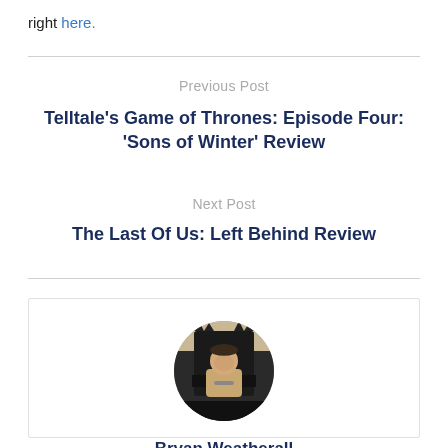right here.
Previous Post
Telltale’s Game of Thrones: Episode Four: ‘Sons of Winter’ Review
Next Post
The Last Of Us: Left Behind Review
[Figure (photo): Circular avatar photo of Bryan Weatherall seated on an iron throne-style chair]
Bryan Weatherall